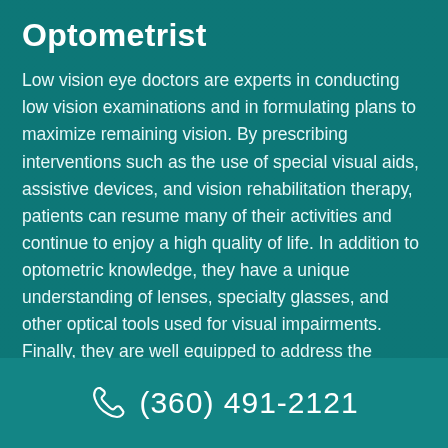Optometrist
Low vision eye doctors are experts in conducting low vision examinations and in formulating plans to maximize remaining vision. By prescribing interventions such as the use of special visual aids, assistive devices, and vision rehabilitation therapy, patients can resume many of their activities and continue to enjoy a high quality of life. In addition to optometric knowledge, they have a unique understanding of lenses, specialty glasses, and other optical tools used for visual impairments. Finally, they are well equipped to address the emotional challenges patients face from visual impairment
(360) 491-2121